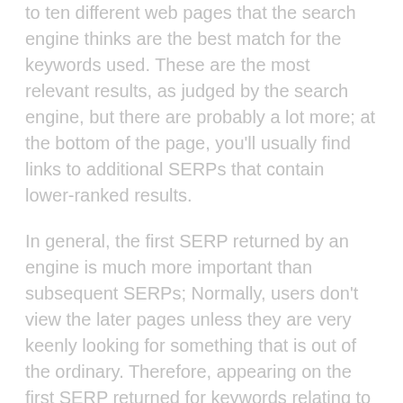to ten different web pages that the search engine thinks are the best match for the keywords used. These are the most relevant results, as judged by the search engine, but there are probably a lot more; at the bottom of the page, you'll usually find links to additional SERPs that contain lower-ranked results.
In general, the first SERP returned by an engine is much more important than subsequent SERPs; Normally, users don't view the later pages unless they are very keenly looking for something that is out of the ordinary. Therefore, appearing on the first SERP returned for keywords relating to the products or services that are described on a business website is an important priority for the owner.